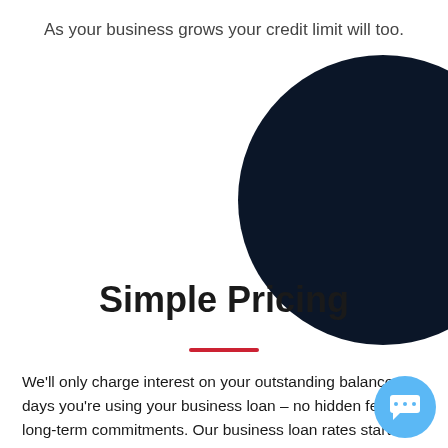As your business grows your credit limit will too.
[Figure (illustration): Large dark navy blue circle, partially cropped on the right side of the page]
Simple Pricing
[Figure (illustration): Red horizontal divider line centered below the title]
We'll only charge interest on your outstanding balance days you're using your business loan – no hidden fees, no long-term commitments. Our business loan rates start at 2% a month
[Figure (illustration): Light blue circular chat/support widget button in the bottom right corner]